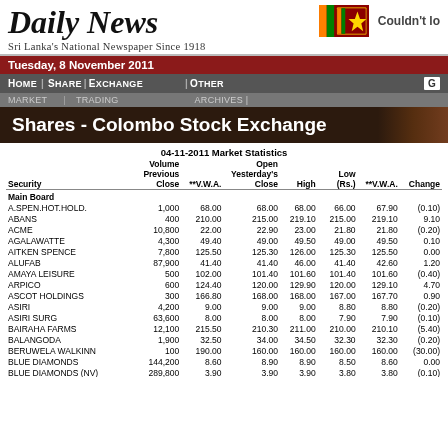Daily News
Sri Lanka's National Newspaper Since 1918
Tuesday, 8 November 2011
Home | Share | Exchange | Other | Trading | Archives | Market
Shares - Colombo Stock Exchange
04-11-2011 Market Statistics
| Security | Volume
Previous
Close | **V.W.A. | Open
Yesterday's
Close | High | Low
(Rs.) | **V.W.A. | Change |
| --- | --- | --- | --- | --- | --- | --- | --- |
| Main Board |  |  |  |  |  |  |  |
| A.SPEN.HOT.HOLD. | 1,000 | 68.00 | 68.00 | 68.00 | 66.00 | 67.90 | (0.10) |
| ABANS | 400 | 210.00 | 215.00 | 219.10 | 215.00 | 219.10 | 9.10 |
| ACME | 10,800 | 22.00 | 22.90 | 23.00 | 21.80 | 21.80 | (0.20) |
| AGALAWATTE | 4,300 | 49.40 | 49.00 | 49.50 | 49.00 | 49.50 | 0.10 |
| AITKEN SPENCE | 7,800 | 125.50 | 125.30 | 126.00 | 125.30 | 125.50 | 0.00 |
| ALUFAB | 87,900 | 41.40 | 41.40 | 46.00 | 41.40 | 42.60 | 1.20 |
| AMAYA LEISURE | 500 | 102.00 | 101.40 | 101.60 | 101.40 | 101.60 | (0.40) |
| ARPICO | 600 | 124.40 | 120.00 | 129.90 | 120.00 | 129.10 | 4.70 |
| ASCOT HOLDINGS | 300 | 166.80 | 168.00 | 168.00 | 167.00 | 167.70 | 0.90 |
| ASIRI | 4,200 | 9.00 | 9.00 | 9.00 | 8.80 | 8.80 | (0.20) |
| ASIRI SURG | 63,600 | 8.00 | 8.00 | 8.00 | 7.90 | 7.90 | (0.10) |
| BAIRAHA FARMS | 12,100 | 215.50 | 210.30 | 211.00 | 210.00 | 210.10 | (5.40) |
| BALANGODA | 1,900 | 32.50 | 34.00 | 34.50 | 32.30 | 32.30 | (0.20) |
| BERUWELA WALKINN | 100 | 190.00 | 160.00 | 160.00 | 160.00 | 160.00 | (30.00) |
| BLUE DIAMONDS | 144,200 | 8.60 | 8.90 | 8.90 | 8.50 | 8.60 | 0.00 |
| BLUE DIAMONDS (NV) | 289,800 | 3.90 | 3.90 | 3.90 | 3.80 | 3.80 | (0.10) |
| BOGALA GRAPHITE | 1,100 | 43.20 | 44.00 | 44.00 | 43.00 | 43.30 | 0.10 |
| BOGAWANTALAWA | 6,500 | 14.90 | 15.00 | 15.00 | 14.90 | 14.90 | 0.00 |
| BROWNS | 26,200 | 243.10 | 243.00 | 243.10 | 243.00 | 243.10 | 0.00 |
| BROWNS BEACH | 6,500 | 16.70 | 16.70 | 16.40 | 16.10 | 16.70 | 0.00 |